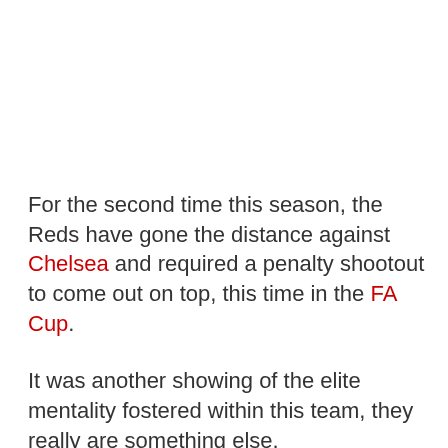For the second time this season, the Reds have gone the distance against Chelsea and required a penalty shootout to come out on top, this time in the FA Cup.
It was another showing of the elite mentality fostered within this team, they really are something else.